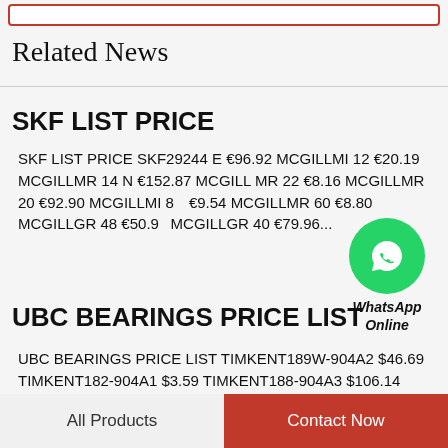Related News
SKF LIST PRICE
SKF LIST PRICE SKF29244 E €96.92 MCGILLMI 12 €20.19 MCGILLMR 14 N €152.87 MCGILL MR 22 €8.16 MCGILLMR 20 €92.90 MCGILLMI 8 €9.54 MCGILLMR 60 €8.80 MCGILLGR 48 €50.9... MCGILLGR 40 €79.96...
[Figure (logo): WhatsApp Online green circle icon with label]
UBC BEARINGS PRICE LIST
UBC BEARINGS PRICE LIST TIMKENT189W-904A2 $46.69 TIMKENT182-904A1 $3.59 TIMKENT188-904A3 $106.14 TIMKENT182-904A2
All Products | Contact Now